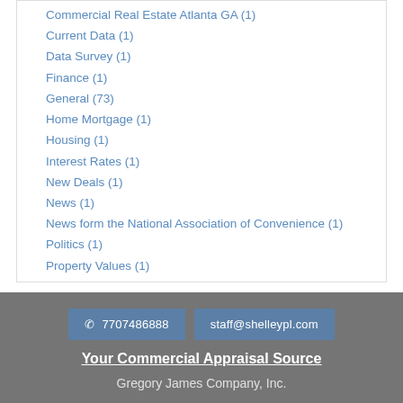Commercial Real Estate Atlanta GA (1)
Current Data (1)
Data Survey (1)
Finance (1)
General (73)
Home Mortgage (1)
Housing (1)
Interest Rates (1)
New Deals (1)
News (1)
News form the National Association of Convenience (1)
Politics (1)
Property Values (1)
☎ 7707486888   staff@shelleypl.com   Your Commercial Appraisal Source   Gregory James Company, Inc.